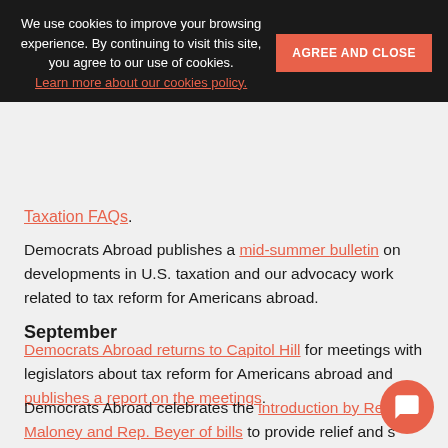We use cookies to improve your browsing experience. By continuing to visit this site, you agree to our use of cookies. Learn more about our cookies policy.
Taxation FAQs.
Democrats Abroad publishes a mid-summer bulletin on developments in U.S. taxation and our advocacy work related to tax reform for Americans abroad.
September
Democrats Abroad returns to Capitol Hill for meetings with legislators about tax reform for Americans abroad and publishes a report on the meetings.
Democrats Abroad celebrates the introduction by Rep. Maloney and Rep. Beyer of bills to provide relief and simplification to Americans Abroad: The Overseas Americans Financial Access Act and The Commission on Americans Abroad Act.